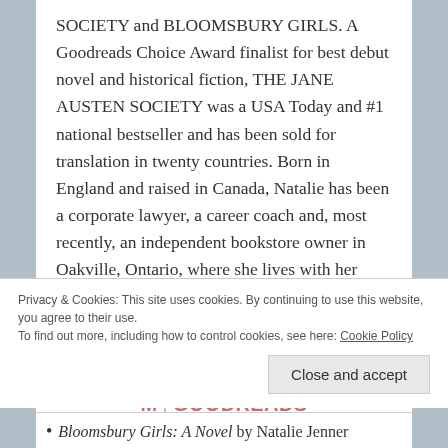SOCIETY and BLOOMSBURY GIRLS. A Goodreads Choice Award finalist for best debut novel and historical fiction, THE JANE AUSTEN SOCIETY was a USA Today and #1 national bestseller and has been sold for translation in twenty countries. Born in England and raised in Canada, Natalie has been a corporate lawyer, a career coach and, most recently, an independent bookstore owner in Oakville, Ontario, where she lives with her family and two rescue dogs.
WEBSITE | TWITTER | FACEBOOK | INSTAGRAM | GOODREADS
Privacy & Cookies: This site uses cookies. By continuing to use this website, you agree to their use. To find out more, including how to control cookies, see here: Cookie Policy
Close and accept
Bloomsbury Girls: A Novel by Natalie Jenner